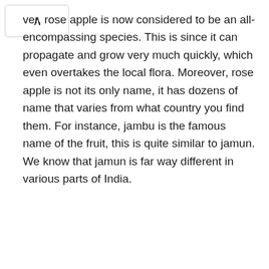ver, rose apple is now considered to be an all-encompassing species. This is since it can propagate and grow very much quickly, which even overtakes the local flora. Moreover, rose apple is not its only name, it has dozens of name that varies from what country you find them. For instance, jambu is the famous name of the fruit, this is quite similar to jamun. We know that jamun is far way different in various parts of India.